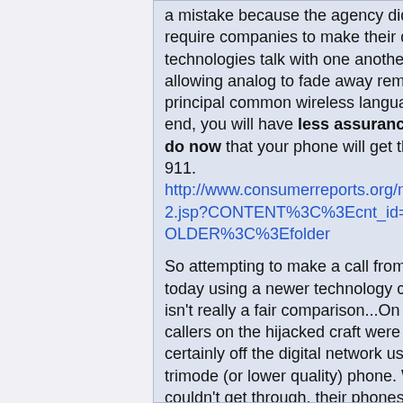a mistake because the agency did not also require companies to make their digital technologies talk with one another. Simply allowing analog to fade away removes the principal common wireless language. In the end, you will have less assurance than you do now that your phone will get through to 911.
http://www.consumerreports.org/main/detailv2.jsp?CONTENT%3C%3Ecnt_id=299615&FOLDER%3C%3Efolder
So attempting to make a call from a plane today using a newer technology cell phone isn't really a fair comparison...On 911, the callers on the hijacked craft were almost certainly off the digital network using a trimode (or lower quality) phone. When digital couldn't get through, their phones switched to analog which, at least in a 911 call, gave them a better